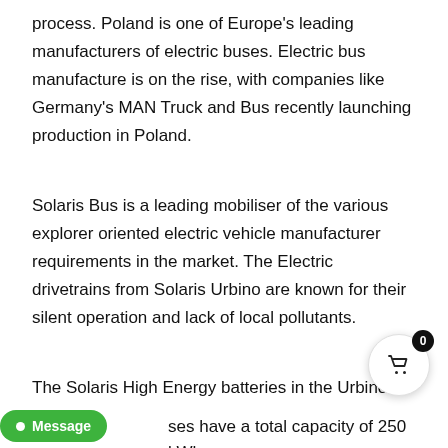process. Poland is one of Europe's leading manufacturers of electric buses. Electric bus manufacture is on the rise, with companies like Germany's MAN Truck and Bus recently launching production in Poland.
Solaris Bus is a leading mobiliser of the various explorer oriented electric vehicle manufacturer requirements in the market. The Electric drivetrains from Solaris Urbino are known for their silent operation and lack of local pollutants.
The Solaris High Energy batteries in the Urbino 12 buses have a total capacity of 250 kWh,